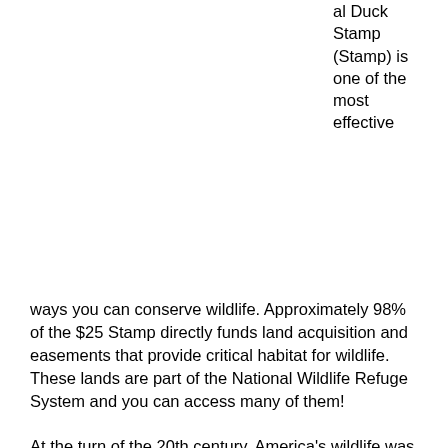al Duck Stamp (Stamp) is one of the most effective ways you can conserve wildlife. Approximately 98% of the $25 Stamp directly funds land acquisition and easements that provide critical habitat for wildlife. These lands are part of the National Wildlife Refuge System and you can access many of them!
At the turn of the 20th century, America's wildlife was under immediate threats. Market shooting to supply restaurants; bounty hunting and unregulated sport